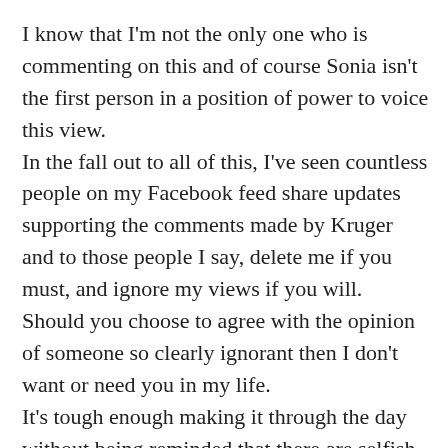I know that I'm not the only one who is commenting on this and of course Sonia isn't the first person in a position of power to voice this view. In the fall out to all of this, I've seen countless people on my Facebook feed share updates supporting the comments made by Kruger and to those people I say, delete me if you must, and ignore my views if you will. Should you choose to agree with the opinion of someone so clearly ignorant then I don't want or need you in my life. It's tough enough making it through the day without being reminded that there are selfish, cold hearted individuals living along side me. This is one of the very few things that I wish I could be ignorant to. The crazy thing is though, I was originally motivated